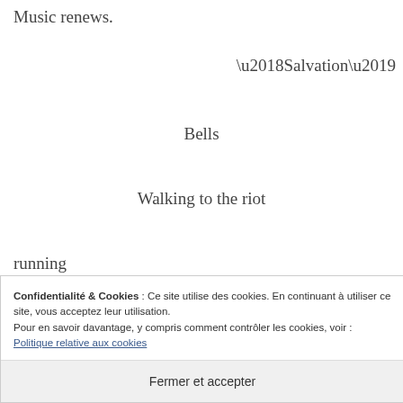Music renews.
‘Salvation’
Bells
Walking to the riot
running
M—
Confidentialité & Cookies : Ce site utilise des cookies. En continuant à utiliser ce site, vous acceptez leur utilisation.
Pour en savoir davantage, y compris comment contrôler les cookies, voir : Politique relative aux cookies
Fermer et accepter